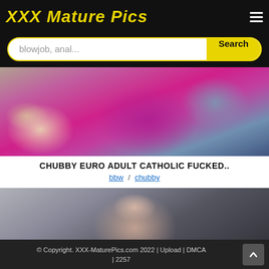XXX Mature Pics
blowjob, anal... Search
[Figure (photo): A scene with people on a pink/magenta floral sofa or bed, partial view of legs and torsos.]
CHUBBY EURO ADULT CATHOLIC FUCKED..
bbw / chubby
[Figure (photo): Close-up photo of a woman with dark hair, eyes closed, in a dimly lit interior setting.]
© Copyright. XXX-MaturePics.com 2022 | Upload | DMCA | 2257